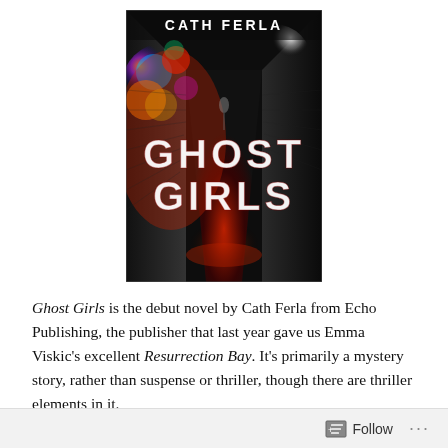[Figure (illustration): Book cover for 'Ghost Girls' by Cath Ferla. Dark alleyway scene with colorful bokeh lights on the left side and bright white light at the end of the alley. Title 'GHOST GIRLS' in large stencil white letters and author name 'CATH FERLA' at the top.]
Ghost Girls is the debut novel by Cath Ferla from Echo Publishing, the publisher that last year gave us Emma Viskic's excellent Resurrection Bay. It's primarily a mystery story, rather than suspense or thriller, though there are thriller elements in it.